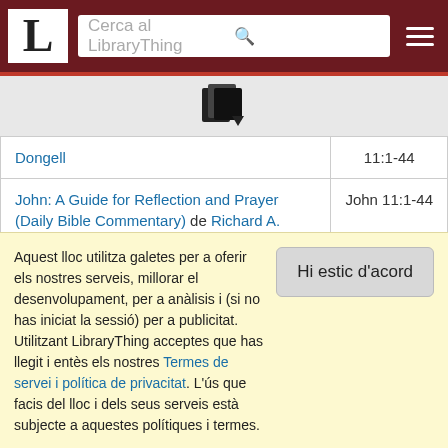[Figure (screenshot): LibraryThing website navigation bar with logo 'L', search box 'Cerca al LibraryThing', search icon, and hamburger menu icon on dark red background]
[Figure (illustration): Small book/documents icon with a dropdown arrow]
| Book | Reference |
| --- | --- |
| Dongell | 11:1-44 |
| John: A Guide for Reflection and Prayer (Daily Bible Commentary) de Richard A. Burridge | John 11:1-44 |
| John: Interpretation: A Bible Commentary for Teaching and Preaching de Gerard S. Sloyan | John 11:1-44 |
| John: That You May Believe (Preaching the Word) de R. Kent Hughes | John 11:1-44 |
| John: The Gospel of Belief: An Analytic Study of the ... | John |
Aquest lloc utilitza galetes per a oferir els nostres serveis, millorar el desenvolupament, per a anàlisis i (si no has iniciat la sessió) per a publicitat. Utilitzant LibraryThing acceptes que has llegit i entès els nostres Termes de servei i política de privacitat. L'ús que facis del lloc i dels seus serveis està subjecte a aquestes polítiques i termes.
Hi estic d'acord